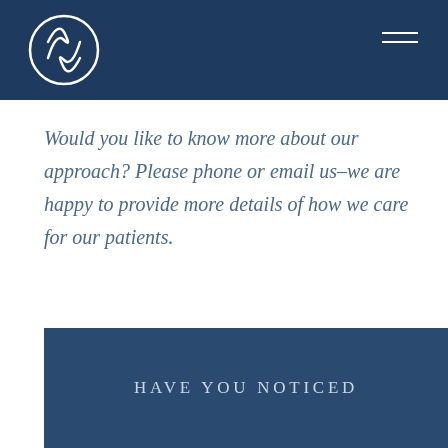[Figure (logo): Circular logo with leaf/wave motif in white on dark navy background, top-left of header]
Would you like to know more about our approach? Please phone or email us–we are happy to provide more details of how we care for our patients.
HAVE YOU NOTICED